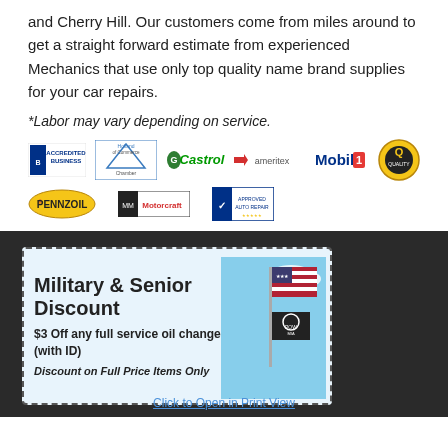and Cherry Hill. Our customers come from miles around to get a straight forward estimate from experienced Mechanics that use only top quality name brand supplies for your car repairs.
*Labor may vary depending on service.
[Figure (logo): Row of brand logos: BBB Accredited Business, Chamber of Commerce, Castrol, Motorcraft/AmeriTex, Mobil 1, Quality logo]
[Figure (logo): Second row of logos: Pennzoil, Motorcraft, AAA Approved]
[Figure (infographic): Military & Senior Discount coupon on dark background with American flag image. Text: Military & Senior Discount. $3 Off any full service oil change (with ID). Discount on Full Price Items Only.]
Click to Open in Print View